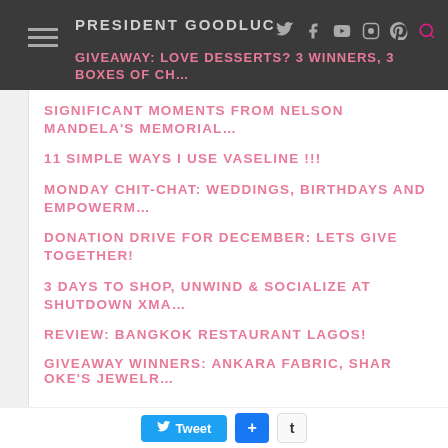PRESIDENT GOODLUC
GIVEAWAY: LOVE DESSERTS? 3 WINNERS, 3 BOXES OF CH…
SIGNIFICANT MOMENTS FROM NELSON MANDELA'S MEMORIAL…
11 SIMPLE WAYS I USE VASELINE !!!
MONDAY CHIT-CHAT: WEDDINGS, BIRTHDAYS AND EMPOWERM…
DONATION DRIVE FOR DECEMBER: LETS GIVE TOGETHER!
3 DAYS TO SHOP, UNWIND & SOCIALIZE AT SHUTDOWN XMA…
REVIEW: BANGKOK RESTAURANT LAGOS!
GIVEAWAY WINNERS: ANKARA FABRIC, SHAR OKE'S JEWELR…
Tweet  +  t